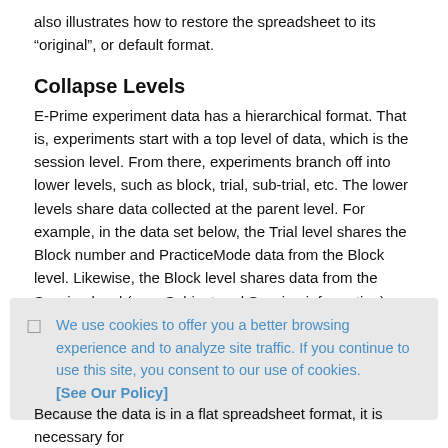also illustrates how to restore the spreadsheet to its “original”, or default format.
Collapse Levels
E-Prime experiment data has a hierarchical format. That is, experiments start with a top level of data, which is the session level. From there, experiments branch off into lower levels, such as block, trial, sub-trial, etc. The lower levels share data collected at the parent level. For example, in the data set below, the Trial level shares the Block number and PracticeMode data from the Block level. Likewise, the Block level shares data from the Session level (e.g., Subject and Session information).
We use cookies to offer you a better browsing experience and to analyze site traffic. If you continue to use this site, you consent to our use of cookies. [See Our Policy]
Because the data is in a flat spreadsheet format, it is necessary for